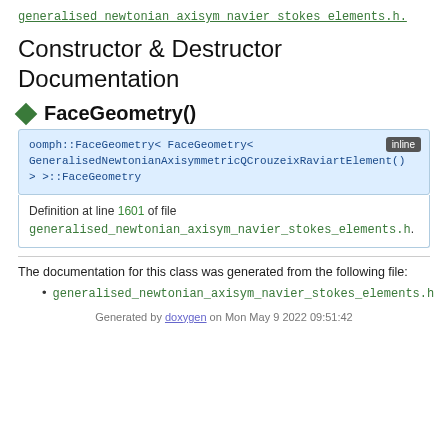generalised_newtonian_axisym_navier_stokes_elements.h.
Constructor & Destructor Documentation
◆ FaceGeometry()
oomph::FaceGeometry< FaceGeometry< GeneralisedNewtonianAxisymmetricQCrouzeixRaviartElement() > >::FaceGeometry [inline]
Definition at line 1601 of file generalised_newtonian_axisym_navier_stokes_elements.h.
The documentation for this class was generated from the following file:
generalised_newtonian_axisym_navier_stokes_elements.h
Generated by doxygen on Mon May 9 2022 09:51:42